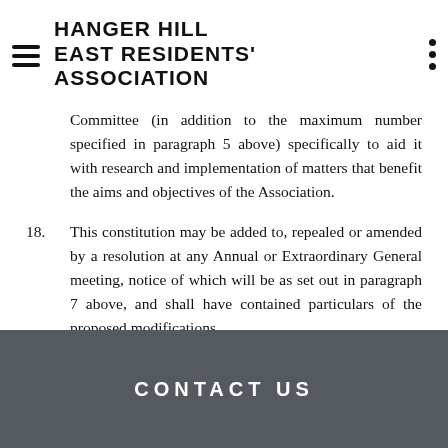HANGER HILL EAST RESIDENTS' ASSOCIATION
Committee (in addition to the maximum number specified in paragraph 5 above) specifically to aid it with research and implementation of matters that benefit the aims and objectives of the Association.
18. This constitution may be added to, repealed or amended by a resolution at any Annual or Extraordinary General meeting, notice of which will be as set out in paragraph 7 above, and shall have contained particulars of the proposed modifications.
CONTACT US